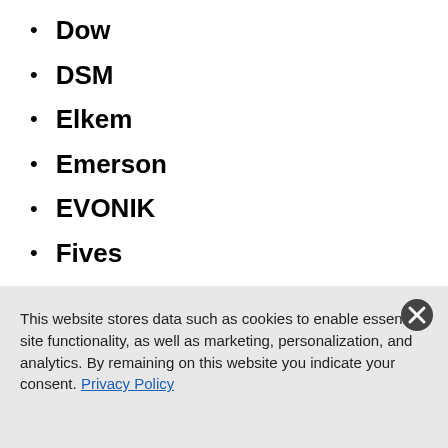Dow
DSM
Elkem
Emerson
EVONIK
Fives
Green Chemistry Campus
Hydro
This website stores data such as cookies to enable essential site functionality, as well as marketing, personalization, and analytics. By remaining on this website you indicate your consent. Privacy Policy